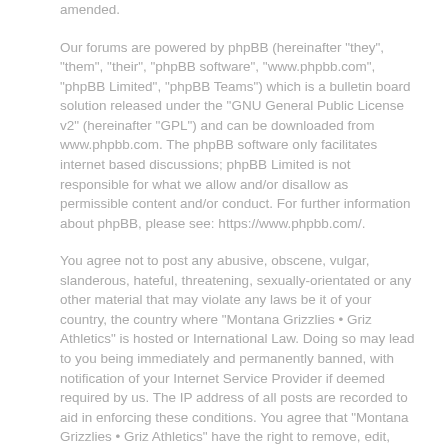amended.
Our forums are powered by phpBB (hereinafter "they", "them", "their", "phpBB software", "www.phpbb.com", "phpBB Limited", "phpBB Teams") which is a bulletin board solution released under the "GNU General Public License v2" (hereinafter "GPL") and can be downloaded from www.phpbb.com. The phpBB software only facilitates internet based discussions; phpBB Limited is not responsible for what we allow and/or disallow as permissible content and/or conduct. For further information about phpBB, please see: https://www.phpbb.com/.
You agree not to post any abusive, obscene, vulgar, slanderous, hateful, threatening, sexually-orientated or any other material that may violate any laws be it of your country, the country where "Montana Grizzlies • Griz Athletics" is hosted or International Law. Doing so may lead to you being immediately and permanently banned, with notification of your Internet Service Provider if deemed required by us. The IP address of all posts are recorded to aid in enforcing these conditions. You agree that "Montana Grizzlies • Griz Athletics" have the right to remove, edit, move or close any topic at any time should we see fit. As a user you agree to any information you have entered to being stored in a database. While this information will not be disclosed to any third party without your consent, neither "Montana Grizzlies • Griz Athletics" nor phpBB shall be held responsible for any hacking attempt that may lead to the data being compromised.
You agree to abide by the rules of these forums set forth in the